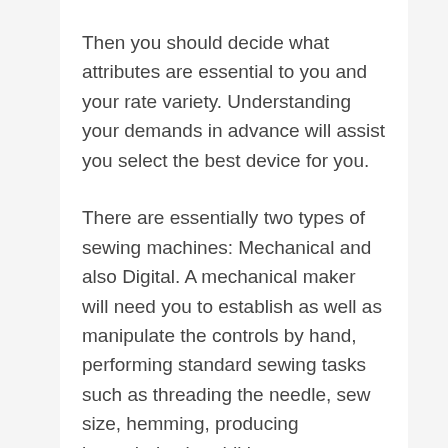Then you should decide what attributes are essential to you and your rate variety. Understanding your demands in advance will assist you select the best device for you.
There are essentially two types of sewing machines: Mechanical and also Digital. A mechanical maker will need you to establish as well as manipulate the controls by hand, performing standard sewing tasks such as threading the needle, sew size, hemming, producing buttonholes in addition to fundamental maintenance.
An electronic sewing machine will